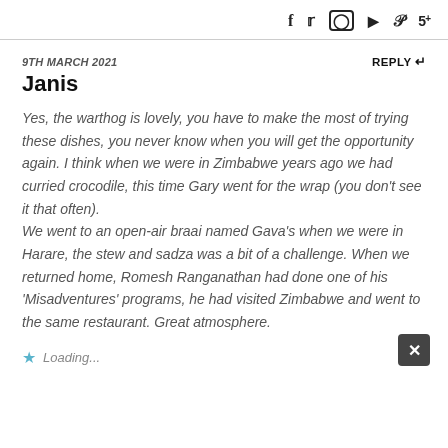f  y  Instagram  YouTube  p  5
9TH MARCH 2021
REPLY ↩
Janis
Yes, the warthog is lovely, you have to make the most of trying these dishes, you never know when you will get the opportunity again. I think when we were in Zimbabwe years ago we had curried crocodile, this time Gary went for the wrap (you don't see it that often).
We went to an open-air braai named Gava's when we were in Harare, the stew and sadza was a bit of a challenge. When we returned home, Romesh Ranganathan had done one of his 'Misadventures' programs, he had visited Zimbabwe and went to the same restaurant. Great atmosphere.
Loading...